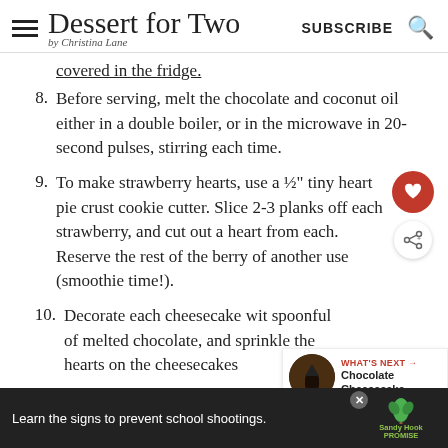Dessert for Two by Christina Lane | SUBSCRIBE
covered in the fridge.
8. Before serving, melt the chocolate and coconut oil either in a double boiler, or in the microwave in 20-second pulses, stirring each time.
9. To make strawberry hearts, use a ½" tiny heart pie crust cookie cutter. Slice 2-3 planks off each strawberry, and cut out a heart from each. Reserve the rest of the berry of another use (smoothie time!).
10. Decorate each cheesecake with spoonful of melted chocolate, and sprinkle the hearts on the cheesecakes
[Figure (infographic): Ad banner: Learn the signs to prevent school shootings. Sandy Hook Promise logo with tree.]